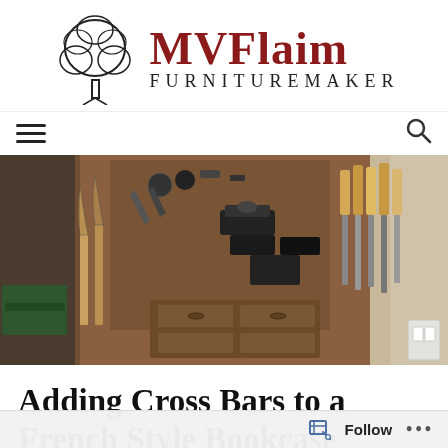[Figure (logo): MVFlaim Furnituremaker logo with a tree illustration on the left and the text 'MVFlaim' in dark red serif font, with 'FURNITUREMAKER' in smaller spaced black capitals below]
[Figure (photo): A woodworking tool wall inside a workshop, showing hand saws, planes, chisels, and other tools organized on wooden pegboards and holders with drawers below]
Adding Cross Bars to a French Style Bookcase
Follow